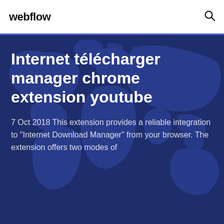webflow
Internet télécharger manager chrome extension youtube
7 Oct 2018 This extension provides a reliable integration to "Internet Download Manager" from your browser. The extension offers two modes of